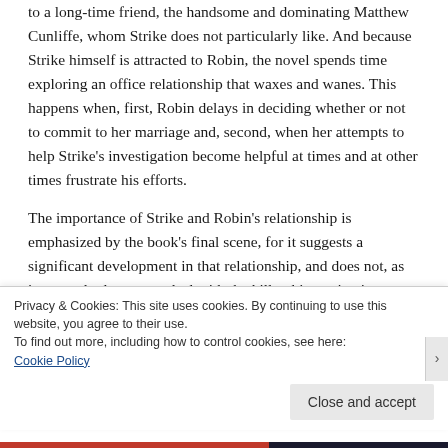to a long-time friend, the handsome and dominating Matthew Cunliffe, whom Strike does not particularly like. And because Strike himself is attracted to Robin, the novel spends time exploring an office relationship that waxes and wanes. This happens when, first, Robin delays in deciding whether or not to commit to her marriage and, second, when her attempts to help Strike's investigation become helpful at times and at other times frustrate his efforts.
The importance of Strike and Robin's relationship is emphasized by the book's final scene, for it suggests a significant development in that relationship, and does not, as in a standard mystery, deal with the killer, his motivation, or his fate. Indeed, Robin's final provocative comment gets
Privacy & Cookies: This site uses cookies. By continuing to use this website, you agree to their use.
To find out more, including how to control cookies, see here:
Cookie Policy
Close and accept